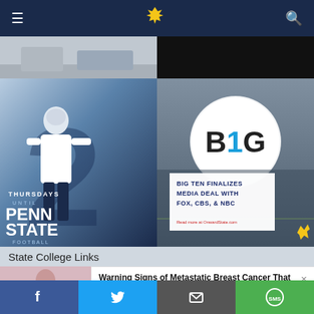[Figure (screenshot): Dark navy navigation bar with hamburger menu icon, yellow mascot logo, and search icon]
[Figure (photo): Top image strip: left half shows outdoor photo, right half is black]
[Figure (photo): Left card: Penn State football promotional image. Player #2 in white jersey on blue background with large number 2. Text: THURSDAYS UNTIL PENN STATE FOOTBALL]
[Figure (photo): Right card: Big Ten media deal news image. B1G logo circular sign with players in background. White box overlay with headline: BIG TEN FINALIZES MEDIA DEAL WITH FOX, CBS, & NBC. Read more at OnwardState.com]
State College Links
[Figure (photo): Advertisement: Woman in pink sweater with hand on chest]
Warning Signs of Metastatic Breast Cancer That Shouldn't Be Ignored
Breast Cancer | Search Ads | Sponsored
[Figure (infographic): Bottom social share bar with Facebook (blue), Twitter (cyan), Email (dark gray), SMS (green) buttons]